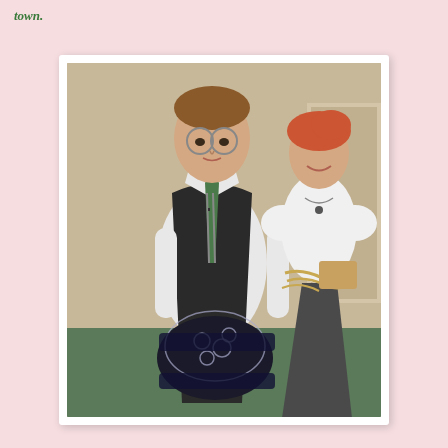town.
[Figure (photo): Two people in period/costume clothing. In the foreground, a young man with round glasses wearing a white shirt, dark vest, and striped tie holds a dark lace corset garment. In the background, a woman with red hair wearing a white Victorian-style blouse and dark skirt handles straw or similar material.]